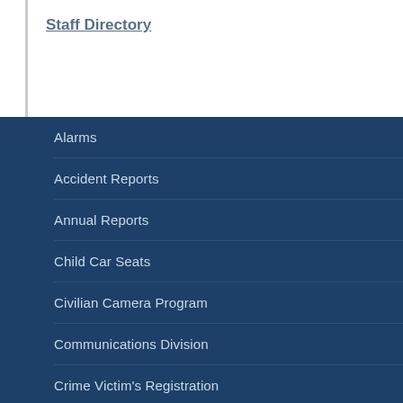Staff Directory
Alarms
Accident Reports
Annual Reports
Child Car Seats
Civilian Camera Program
Communications Division
Crime Victim's Registration